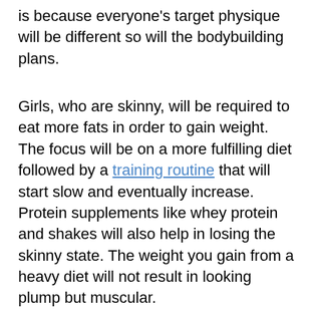is because everyone's target physique will be different so will the bodybuilding plans.
Girls, who are skinny, will be required to eat more fats in order to gain weight. The focus will be on a more fulfilling diet followed by a training routine that will start slow and eventually increase. Protein supplements like whey protein and shakes will also help in losing the skinny state. The weight you gain from a heavy diet will not result in looking plump but muscular.
Girls, who are plump and voluptuous, will have a training plan that focuses on sculpting the muscles. The focus will be to target areas that constitute more